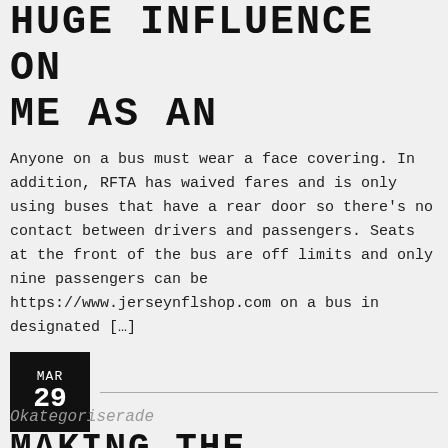HUGE INFLUENCE ON ME AS AN
Anyone on a bus must wear a face covering. In addition, RFTA has waived fares and is only using buses that have a rear door so there’s no contact between drivers and passengers. Seats at the front of the bus are off limits and only nine passengers can be https://www.jerseynflshop.com on a bus in designated […]
MAR 29
Okategoriserade
MAKING THE